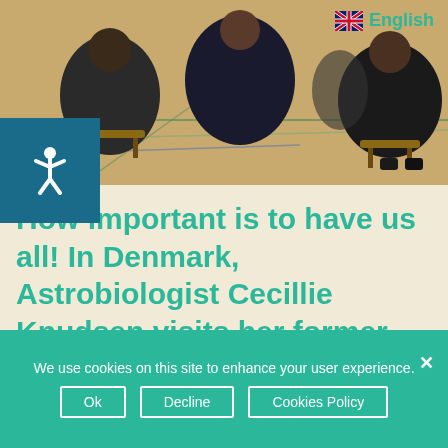[Figure (photo): People seated in chairs in a gymnasium/meeting room viewed from behind, with blue and green lines on the floor]
How important is to have us all! In Denmark, Astrobiologist Cecillie Knudsen visits her former school
In the OurSpaceOurFuture project, Planetarium , Copenhagen, Denmark, is currently [...]
By ourspace | December 15th, 2020 | Sin categoria | 0 Comments
Read More >
We use cookies on this site to enhance your user experience.
Ok   Decline   Cookies Policy